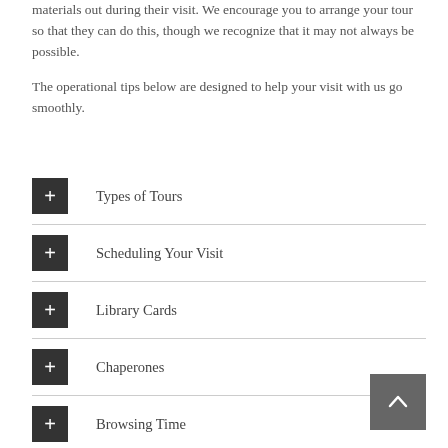materials out during their visit. We encourage you to arrange your tour so that they can do this, though we recognize that it may not always be possible.
The operational tips below are designed to help your visit with us go smoothly.
Types of Tours
Scheduling Your Visit
Library Cards
Chaperones
Browsing Time
Checking Out Materials